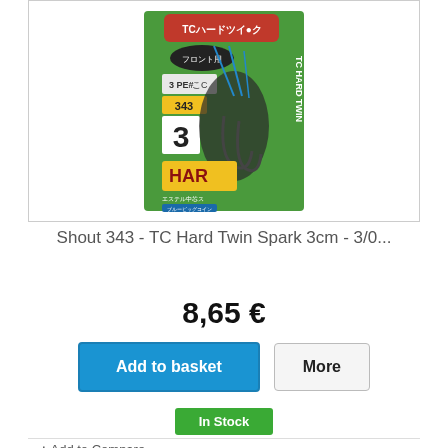[Figure (photo): Product photo of Shout 343 TC Hard Twin Spark fishing hook package — green card blister pack with Japanese text, blue and black hook with feathers, showing size 3/0 and 3cm details.]
Shout 343 - TC Hard Twin Spark 3cm - 3/0...
8,65 €
Add to basket
More
In Stock
+ Add to Compare